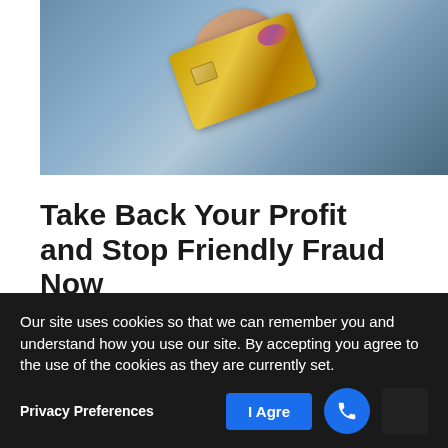[Figure (photo): A hand holding a gold/bronze credit card against a blue-grey background]
Take Back Your Profit and Stop Friendly Fraud Now
Boost your bottom line with Fraud.net's Friendly Fraud Solution. Digital
Our site uses cookies so that we can remember you and understand how you use our site. By accepting you agree to the use of the cookies as they are currently set.
Privacy Preferences
I Agre